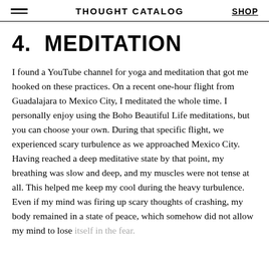THOUGHT CATALOG | SHOP
4.  MEDITATION
I found a YouTube channel for yoga and meditation that got me hooked on these practices. On a recent one-hour flight from Guadalajara to Mexico City, I meditated the whole time. I personally enjoy using the Boho Beautiful Life meditations, but you can choose your own. During that specific flight, we experienced scary turbulence as we approached Mexico City. Having reached a deep meditative state by that point, my breathing was slow and deep, and my muscles were not tense at all. This helped me keep my cool during the heavy turbulence. Even if my mind was firing up scary thoughts of crashing, my body remained in a state of peace, which somehow did not allow my mind to lose itself in the fear.